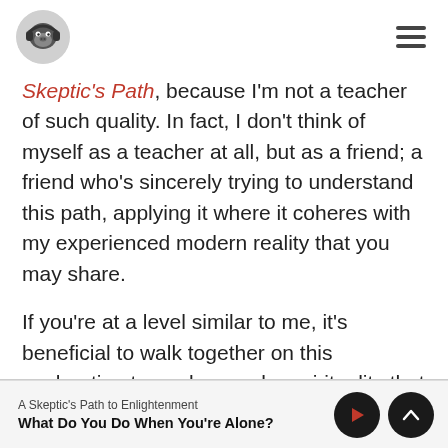A Skeptic's Path to Enlightenment podcast — logo and navigation header
Skeptic's Path, because I'm not a teacher of such quality. In fact, I don't think of myself as a teacher at all, but as a friend; a friend who's sincerely trying to understand this path, applying it where it coheres with my experienced modern reality that you may share.

If you're at a level similar to me, it's beneficial to walk together on this exploration toward a secular spirituality that melds the wisdom of Buddhism with the wonder of science and the
A Skeptic's Path to Enlightenment | What Do You Do When You're Alone?